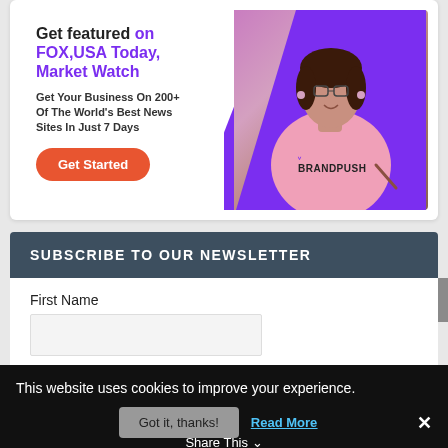[Figure (infographic): BrandPush advertisement banner: 'Get featured on FOX, USA Today, Market Watch. Get Your Business On 200+ Of The World's Best News Sites In Just 7 Days.' with a Get Started button and a photo of a woman in a pink sweatshirt labeled BRANDPUSH]
SUBSCRIBE TO OUR NEWSLETTER
First Name
This website uses cookies to improve your experience.
Got it, thanks!
Read More
Share This